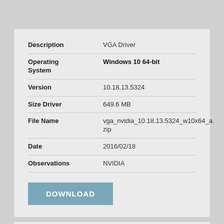| Field | Value |
| --- | --- |
| Description | VGA Driver |
| Operating System | Windows 10 64-bit |
| Version | 10.18.13.5324 |
| Size Driver | 649.6 MB |
| File Name | vga_nvidia_10.18.13.5324_w10x64_a.zip |
| Date | 2016/02/18 |
| Observations | NVIDIA |
DOWNLOAD
| Field | Value |
| --- | --- |
| Description | Wireless LAN Driver |
| Operating System | Windows 10 64-bit |